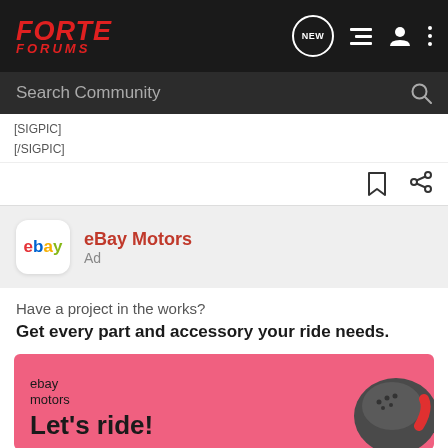FORTE FORUMS — navigation bar with NEW bubble, list icon, user icon, more icon
Search Community
[SIGPIC]
[/SIGPIC]
[Figure (other): Bookmark and share icons]
[Figure (logo): eBay Motors Ad header with eBay logo, title 'eBay Motors', subtitle 'Ad']
Have a project in the works?
Get every part and accessory your ride needs.
[Figure (illustration): eBay Motors ad banner with pink background, 'ebay motors' logo text, 'Let's ride!' heading, and partial motorcycle helmet image]